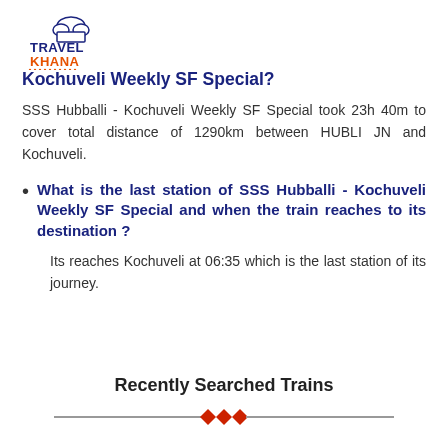[Figure (logo): TravelKhana logo with chef hat icon, TRAVEL in dark blue, KHANA in orange, decorative dots underline]
Kochuveli Weekly SF Special?
SSS Hubballi - Kochuveli Weekly SF Special took 23h 40m to cover total distance of 1290km between HUBLI JN and Kochuveli.
What is the last station of SSS Hubballi - Kochuveli Weekly SF Special and when the train reaches to its destination ?
Its reaches Kochuveli at 06:35 which is the last station of its journey.
Recently Searched Trains
[Figure (illustration): Decorative divider with two horizontal lines and red diamond shapes in the center]